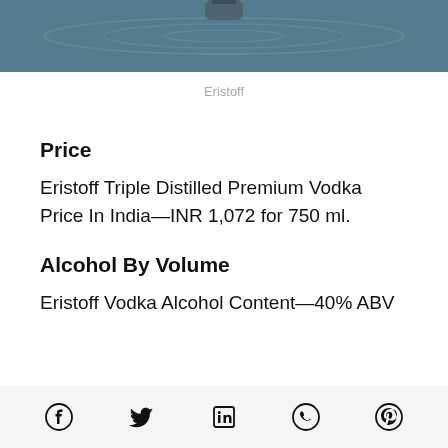[Figure (photo): Partial photo of Eristoff vodka bottle with water/liquid background, cropped at top]
Eristoff
Price
Eristoff Triple Distilled Premium Vodka Price In India—INR 1,072 for 750 ml.
Alcohol By Volume
Eristoff Vodka Alcohol Content—40% ABV
[Figure (infographic): Social media share icons: Facebook, Twitter, LinkedIn, WhatsApp, Pinterest]